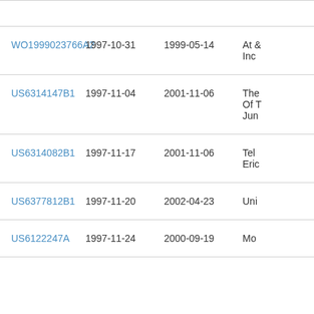| Patent ID | Filing Date | Publication Date | Assignee |
| --- | --- | --- | --- |
| WO1999023766A2 | 1997-10-31 | 1999-05-14 | At & Inc |
| US6314147B1 | 1997-11-04 | 2001-11-06 | The Of T Jun |
| US6314082B1 | 1997-11-17 | 2001-11-06 | Tel Eric |
| US6377812B1 | 1997-11-20 | 2002-04-23 | Uni |
| US6122247A | 1997-11-24 | 2000-09-19 | Mo |